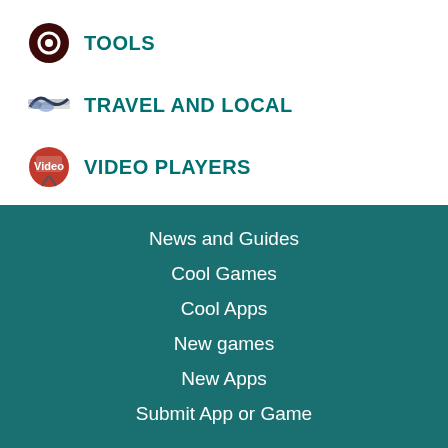TOOLS
TRAVEL AND LOCAL
VIDEO PLAYERS
WEATHER
News and Guides
Cool Games
Cool Apps
New games
New Apps
Submit App or Game